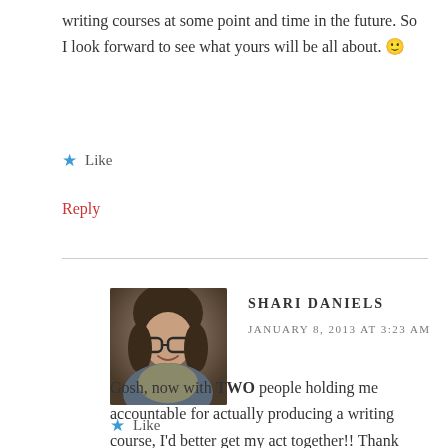writing courses at some point and time in the future. So I look forward to see what yours will be all about. 🙂
Like
Reply
SHARI DANIELS
JANUARY 8, 2013 AT 3:23 AM
Gosh, now with TWO people holding me accountable for actually producing a writing course, I'd better get my act together!! Thank you, Suzanne, for your kind comments. 🙂
Like